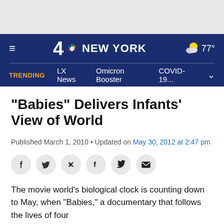[Figure (screenshot): NBC 4 New York navigation bar with hamburger menu, logo, weather (partly cloudy, 77°), trending links: LX News, Omicron Booster, COVID-19...]
“Babies” Delivers Infants’ View of World
Published March 1, 2010 • Updated on May 30, 2012 at 2:47 pm
[Figure (infographic): Social share buttons: Facebook, Twitter, Email]
The movie world’s biological clock is counting down to May, when "Babies," a documentary that follows the lives of four